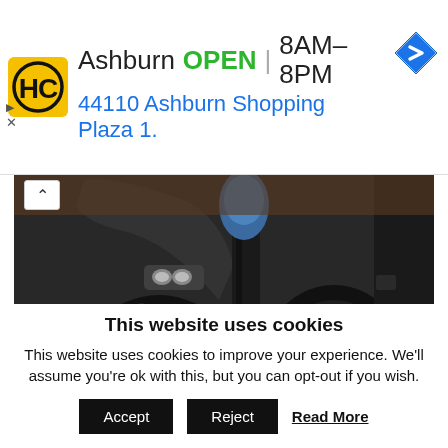[Figure (screenshot): Advertisement banner for Hairclub (HC) in Ashburn, showing logo, OPEN status, hours 8AM-8PM, address 44110 Ashburn Shopping Plaza 1., and navigation icon]
[Figure (photo): Close-up photo of motorcycle wheels/tires with dark background, person's hand visible on the right side]
This website uses cookies
This website uses cookies to improve your experience. We'll assume you're ok with this, but you can opt-out if you wish.
Accept  Reject  Read More